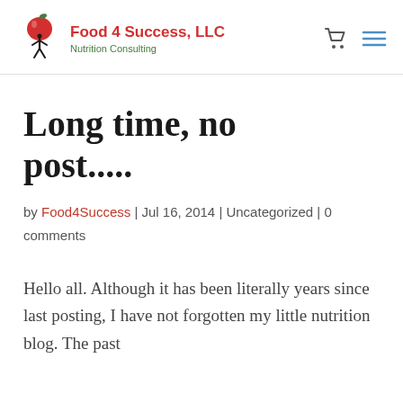Food 4 Success, LLC Nutrition Consulting
Long time, no post.....
by Food4Success | Jul 16, 2014 | Uncategorized | 0 comments
Hello all. Although it has been literally years since last posting, I have not forgotten my little nutrition blog. The past